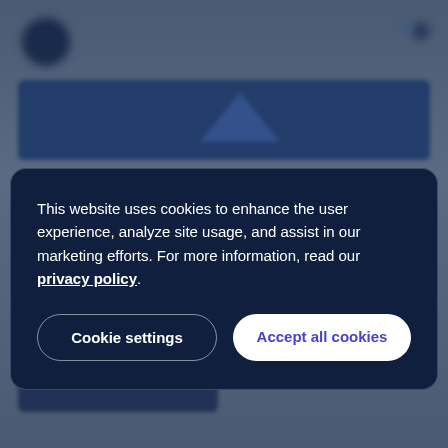[Figure (screenshot): Blurred website background behind a cookie consent modal dialog]
This website uses cookies to enhance the user experience, analyze site usage, and assist in our marketing efforts. For more information, read our privacy policy.
Cookie settings
Accept all cookies